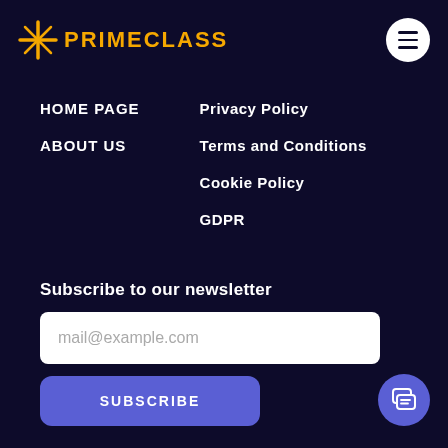[Figure (logo): PrimeClass logo with gold star icon and gold bold text PRIMECLASS]
[Figure (other): Hamburger menu button (white circle with three horizontal lines)]
HOME PAGE
ABOUT US
Privacy Policy
Terms and Conditions
Cookie Policy
GDPR
Subscribe to our newsletter
mail@example.com
SUBSCRIBE
[Figure (other): Blue circular chat/speech bubble button in bottom right corner]